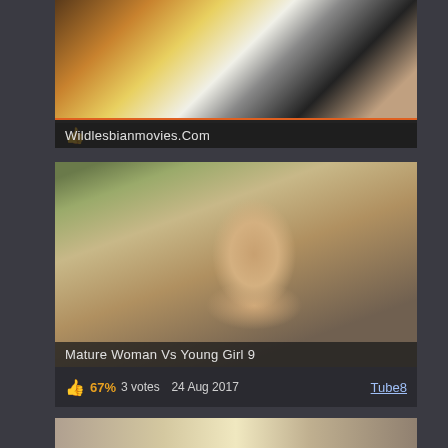[Figure (screenshot): Video thumbnail for Wildlesbianmovies.Com showing blurry scene]
Wildlesbianmovies.Com
👍
[Figure (screenshot): Video thumbnail for Mature Woman Vs Young Girl 9 showing a woman on a phone]
Mature Woman Vs Young Girl 9
👍 67% 3 votes   24 Aug 2017   Tube8
[Figure (screenshot): Partial view of a third video thumbnail at bottom of page]